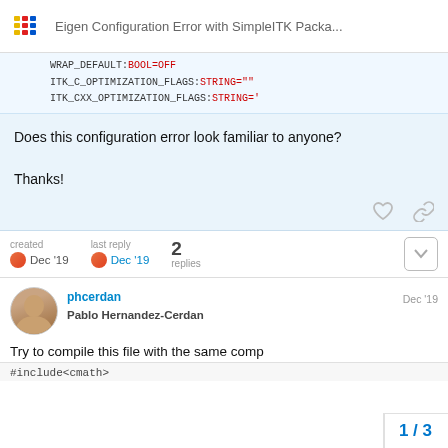Eigen Configuration Error with SimpleITK Packa...
WRAP_DEFAULT:BOOL=OFF
ITK_C_OPTIMIZATION_FLAGS:STRING=""
ITK_CXX_OPTIMIZATION_FLAGS:STRING='
Does this configuration error look familiar to anyone?

Thanks!
created Dec '19   last reply Dec '19   2 replies
phcerdan  Pablo Hernandez-Cerdan  Dec '19
Try to compile this file with the same comp
#include<cmath>
1 / 3